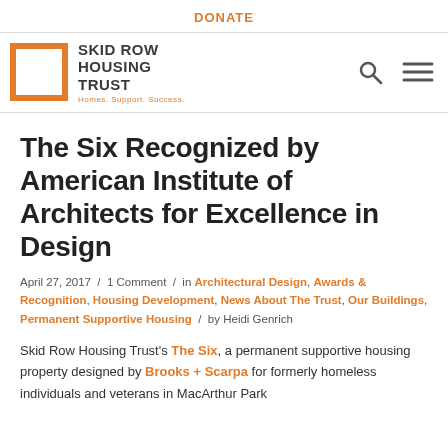DONATE
[Figure (logo): Skid Row Housing Trust logo — orange square outline with org name and tagline 'Homes. Support. Success.']
The Six Recognized by American Institute of Architects for Excellence in Design
April 27, 2017 / 1 Comment / in Architectural Design, Awards & Recognition, Housing Development, News About The Trust, Our Buildings, Permanent Supportive Housing / by Heidi Genrich
Skid Row Housing Trust's The Six, a permanent supportive housing property designed by Brooks + Scarpa for formerly homeless individuals and veterans in MacArthur Park